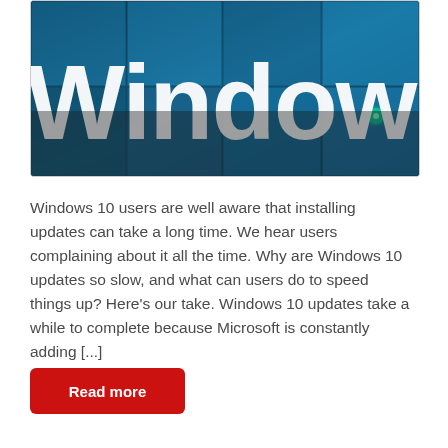[Figure (photo): Close-up photograph of a large Windows logo sign with white 3D letters against a blue glass building facade background.]
Windows 10 users are well aware that installing updates can take a long time. We hear users complaining about it all the time. Why are Windows 10 updates so slow, and what can users do to speed things up? Here's our take. Windows 10 updates take a while to complete because Microsoft is constantly adding [...]
Read more